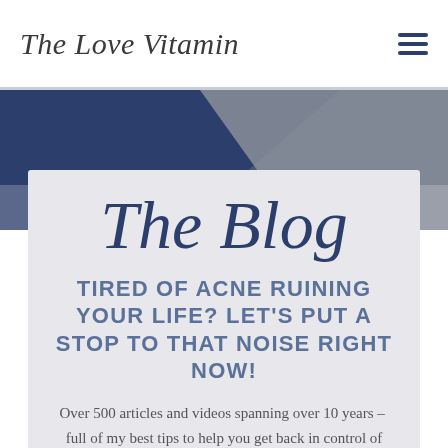The Love Vitamin
[Figure (illustration): Geometric background with navy blue and grey diagonal shapes forming a banner area]
The Blog
TIRED OF ACNE RUINING YOUR LIFE? LET'S PUT A STOP TO THAT NOISE RIGHT NOW!
Over 500 articles and videos spanning over 10 years – full of my best tips to help you get back in control of your skin.